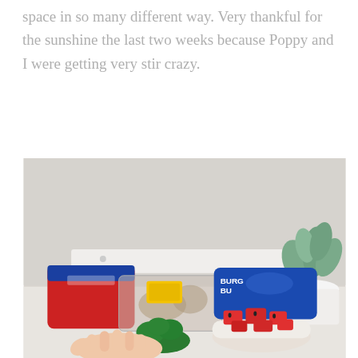space in so many different way. Very thankful for the sunshine the last two weeks because Poppy and I were getting very stir crazy.
[Figure (photo): Photo of a table with grocery bags of burger buns (red and blue packaging) and a clear bag, along with a bowl of watermelon chunks, broccoli, a white pot with a green plant, and a child's hand visible, set against a white background.]